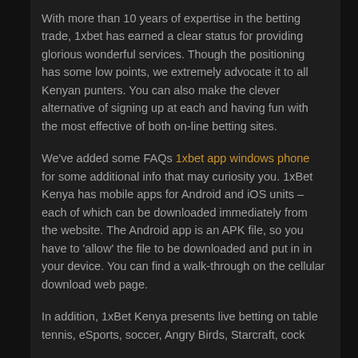With more than 10 years of expertise in the betting trade, 1xbet has earned a clear status for providing glorious wonderful services. Though the positioning has some low points, we extremely advocate it to all Kenyan punters. You can also make the clever alternative of signing up at each and having fun with the most effective of both on-line betting sites.
We've added some FAQs 1xbet app windows phone for some additional info that may curiosity you. 1xBet Kenya has mobile apps for Android and iOS units – each of which can be downloaded immediately from the website. The Android app is an APK file, so you have to 'allow' the file to be downloaded and put in in your device. You can find a walk-through on the cellular download web page.
In addition, 1xBet Kenya presents live betting on table tennis, eSports, soccer, Angry Birds, Starcraft, cock